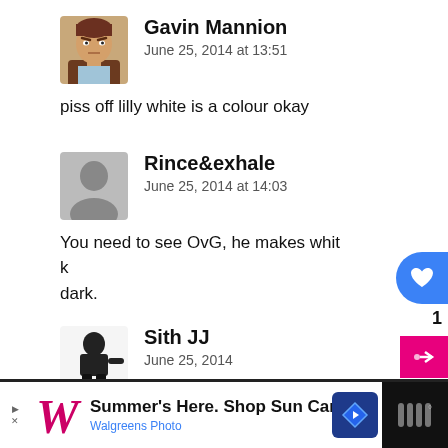[Figure (illustration): Avatar of Gavin Mannion - cartoon-style character with brown hair and jacket]
Gavin Mannion
June 25, 2014 at 13:51
piss off lilly white is a colour okay
[Figure (illustration): Default grey silhouette avatar placeholder for Rince&exhale]
Rince&exhale
June 25, 2014 at 14:03
You need to see OvG, he makes white look dark.
[Figure (illustration): Avatar of Sith JJ - dark armored figure silhouette]
Sith JJ
June 25, 2014
I have seen him, I can second this. I had to wear sunglasses when looking at him
[Figure (screenshot): Advertisement bar: Walgreens Photo - Summer's Here. Shop Sun Care]